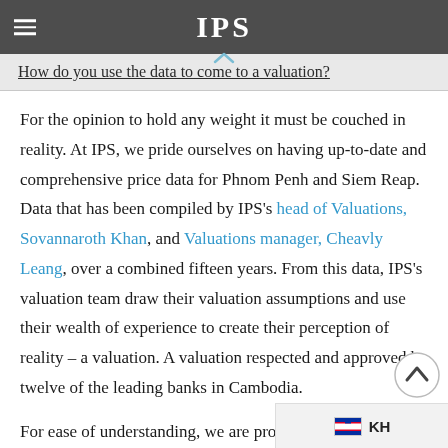IPS
How do you use the data to come to a valuation?
For the opinion to hold any weight it must be couched in reality. At IPS, we pride ourselves on having up-to-date and comprehensive price data for Phnom Penh and Siem Reap. Data that has been compiled by IPS's head of Valuations, Sovannaroth Khan, and Valuations manager, Cheavly Leang, over a combined fifteen years. From this data, IPS's valuation team draw their valuation assumptions and use their wealth of experience to create their perception of reality – a valuation. A valuation respected and approved by twelve of the leading banks in Cambodia.
For ease of understanding, we are proud to p…